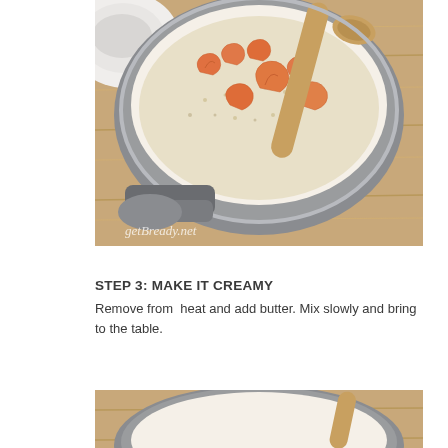[Figure (photo): A gray saucepan with shrimp and risotto/grains inside, stirred with a wooden spoon, on a wooden table surface. A white bowl is visible in the upper left. Watermark reads 'getBready.net'.]
STEP 3: MAKE IT CREAMY
Remove from  heat and add butter. Mix slowly and bring to the table.
[Figure (photo): Bottom portion of the same gray saucepan with wooden spoon, partially cropped, on a wooden table surface.]